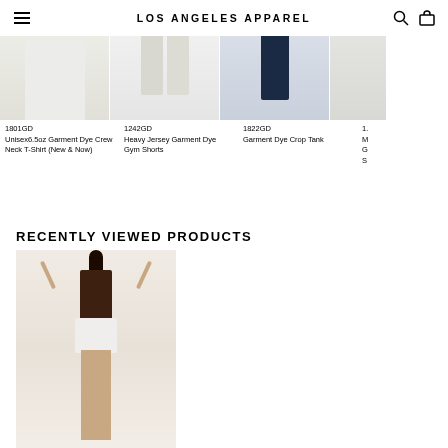LOS ANGELES APPAREL
[Figure (photo): Product photo: white shorts/garment, cropped at top]
1801GD
Unisex6.5oz Garment Dye Crew Neck T-Shirt (New & Now)
[Figure (photo): Product photo: couple in white shirts and white shorts]
1242GD
Heavy Jersey Garment Dye Gym Shorts
[Figure (photo): Product photo: person in navy pants, cropped]
1822GD
Garment Dye Crop Tank
[Figure (photo): Partially visible product photo, cropped at right edge]
1.
M
G
S
RECENTLY VIEWED PRODUCTS
[Figure (photo): Woman in dark brown camisole top and white shorts with hands raised above head]